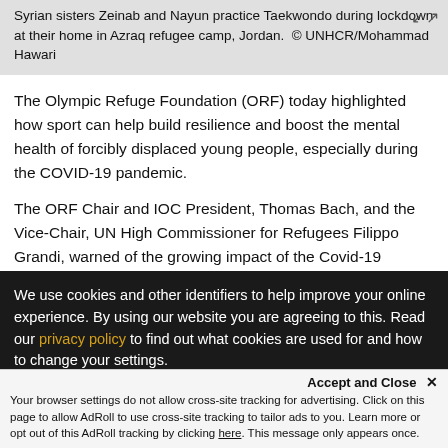Syrian sisters Zeinab and Nayun practice Taekwondo during lockdown at their home in Azraq refugee camp, Jordan.  © UNHCR/Mohammad Hawari
The Olympic Refuge Foundation (ORF) today highlighted how sport can help build resilience and boost the mental health of forcibly displaced young people, especially during the COVID-19 pandemic.
The ORF Chair and IOC President, Thomas Bach, and the Vice-Chair, UN High Commissioner for Refugees Filippo Grandi, warned of the growing impact of the Covid-19 pandemic on the mental health of refugees and others
We use cookies and other identifiers to help improve your online experience. By using our website you are agreeing to this. Read our privacy policy to find out what cookies are used for and how to change your settings.
Your browser settings do not allow cross-site tracking for advertising. Click on this page to allow AdRoll to use cross-site tracking to tailor ads to you. Learn more or opt out of this AdRoll tracking by clicking here. This message only appears once.